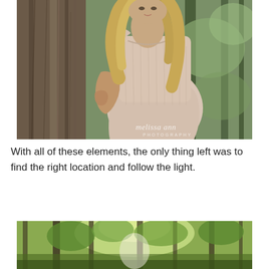[Figure (photo): Outdoor portrait photo of a young woman in a light pink/beige pleated dress leaning against a tree trunk in a forested setting. She has long wavy blonde hair. A watermark reads 'melissa ann PHOTOGRAPHY' in the lower right corner.]
With all of these elements, the only thing left was to find the right location and follow the light.
[Figure (photo): Outdoor photo partially visible showing a bright sunlit forest/wooded area with green foliage and trees.]